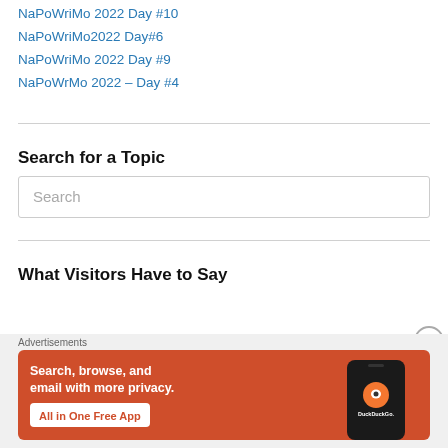NaPoWriMo 2022 Day #10
NaPoWriMo2022 Day#6
NaPoWriMo 2022 Day #9
NaPoWrMo 2022 – Day #4
Search for a Topic
Search
What Visitors Have to Say
[Figure (screenshot): DuckDuckGo advertisement banner with orange background. Text reads: Search, browse, and email with more privacy. All in One Free App. Shows a phone with DuckDuckGo logo.]
Advertisements